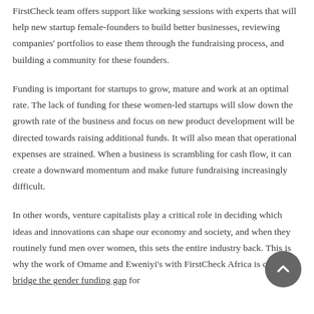FirstCheck team offers support like working sessions with experts that will help new startup female-founders to build better businesses, reviewing companies' portfolios to ease them through the fundraising process, and building a community for these founders.
Funding is important for startups to grow, mature and work at an optimal rate. The lack of funding for these women-led startups will slow down the growth rate of the business and focus on new product development will be directed towards raising additional funds. It will also mean that operational expenses are strained. When a business is scrambling for cash flow, it can create a downward momentum and make future fundraising increasingly difficult.
In other words, venture capitalists play a critical role in deciding which ideas and innovations can shape our economy and society, and when they routinely fund men over women, this sets the entire industry back. This is why the work of Omame and Eweniyi's with FirstCheck Africa is clear. To bridge the gender funding gap for